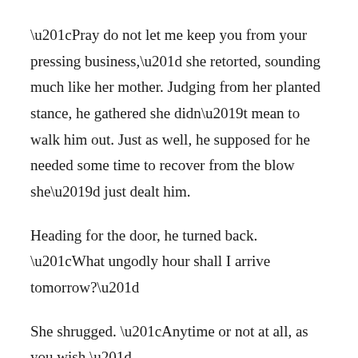“Pray do not let me keep you from your pressing business,” she retorted, sounding much like her mother. Judging from her planted stance, he gathered she didn’t mean to walk him out. Just as well, he supposed for he needed some time to recover from the blow she’d just dealt him.
Heading for the door, he turned back. “What ungodly hour shall I arrive tomorrow?”
She shrugged. “Anytime or not at all, as you wish.”
“If you treat all your benefactors in such a shrewish fashion, ‘tis a mercy you have a roof and four walls,” he answered, a deliberate reminder that he was, in point, paying for her company if not her goodwill.